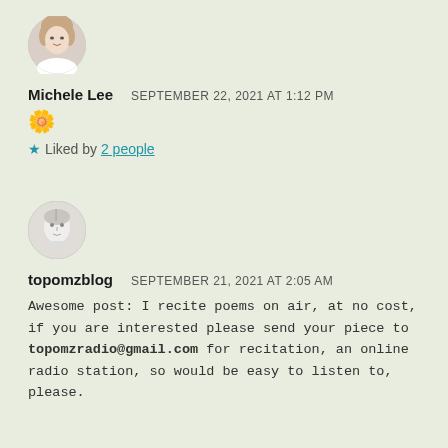[Figure (photo): Circular avatar photo of Michele Lee, a woman with light hair]
Michele Lee   SEPTEMBER 22, 2021 AT 1:12 PM
🌼
★ Liked by 2 people
[Figure (photo): Circular avatar photo of topomzblog, a stylized face in black and white]
topomzblog   SEPTEMBER 21, 2021 AT 2:05 AM
Awesome post: I recite poems on air, at no cost, if you are interested please send your piece to topomzradio@gmail.com for recitation, an online radio station, so would be easy to listen to, please.